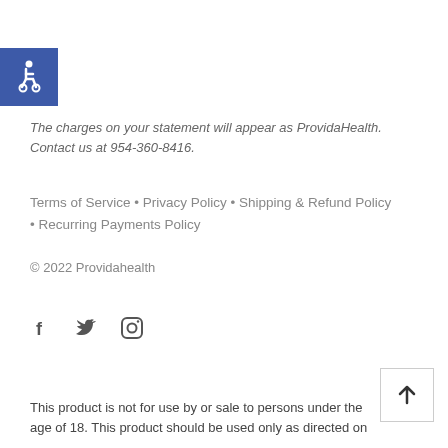[Figure (logo): Blue square accessibility icon with white wheelchair symbol]
The charges on your statement will appear as ProvidaHealth. Contact us at 954-360-8416.
Terms of Service • Privacy Policy • Shipping & Refund Policy • Recurring Payments Policy
© 2022 Providahealth
[Figure (other): Social media icons: Facebook, Twitter, Instagram]
[Figure (other): Back to top button with upward arrow]
This product is not for use by or sale to persons under the age of 18. This product should be used only as directed on